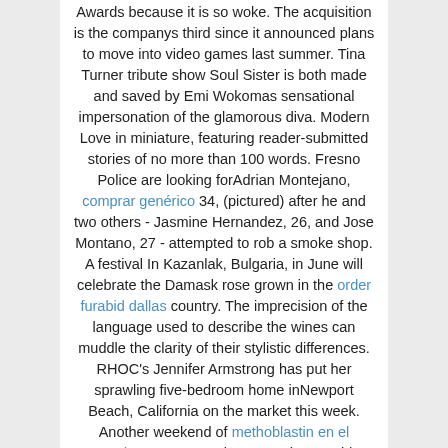Awards because it is so woke. The acquisition is the companys third since it announced plans to move into video games last summer. Tina Turner tribute show Soul Sister is both made and saved by Emi Wokomas sensational impersonation of the glamorous diva. Modern Love in miniature, featuring reader-submitted stories of no more than 100 words. Fresno Police are looking forAdrian Montejano, comprar genérico 34, (pictured) after he and two others - Jasmine Hernandez, 26, and Jose Montano, 27 - attempted to rob a smoke shop. A festival In Kazanlak, Bulgaria, in June will celebrate the Damask rose grown in the order furabid dallas country. The imprecision of the language used to describe the wines can muddle the clarity of their stylistic differences. RHOC's Jennifer Armstrong has put her sprawling five-bedroom home inNewport Beach, California on the market this week. Another weekend of methoblastin en el mostrador protests against Canada's Covid-19 mandates saw around 200 arrests in the nation's capital as authorities moved to end the weekslong demonstration, towing vehicles and going after protesters' pocketbooks with financial penalties. President Joe Biden termed Vladimir Putin a 'butcher' after holding emotional conversations with Ukrainian refugees - including a pair who fled the horror of the siege at Mariupol. Food helped bring Laura McDonald and Herb Shah together. So it was only